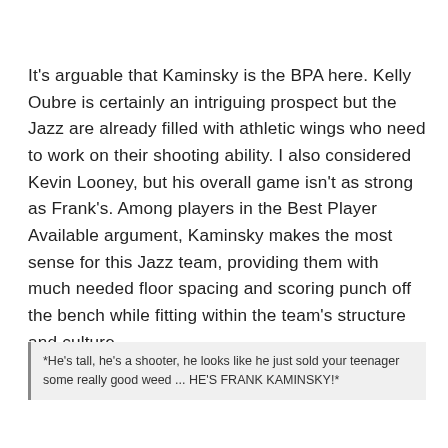It's arguable that Kaminsky is the BPA here.  Kelly Oubre is certainly an intriguing prospect but the Jazz are already filled with athletic wings who need to work on their shooting ability. I also considered Kevin Looney, but his overall game isn't as strong as Frank's.  Among players in the Best Player Available argument, Kaminsky makes the most sense for this Jazz team, providing them with much needed floor spacing and scoring punch off the bench while fitting within the team's structure and culture.
*He's tall, he's a shooter, he looks like he just sold your teenager some really good weed ... HE'S FRANK KAMINSKY!*